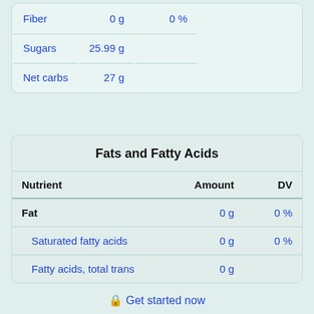| Nutrient | Amount | DV |
| --- | --- | --- |
| Fiber | 0 g | 0 % |
| Sugars | 25.99 g |  |
| Net carbs | 27 g |  |
| Nutrient | Amount | DV |
| --- | --- | --- |
| Fat | 0 g | 0 % |
| Saturated fatty acids | 0 g | 0 % |
| Fatty acids, total trans | 0 g |  |
🔒 Get started now